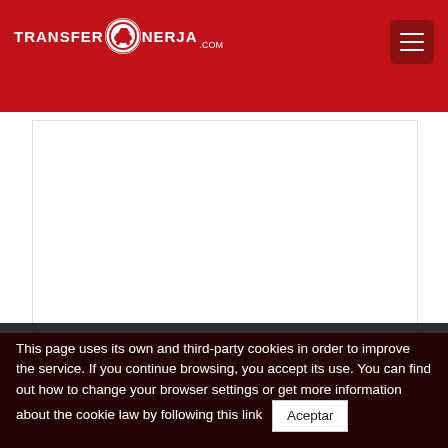[Figure (logo): TransferNerja.com logo in white text on red background with circular emblem]
[Figure (other): Hamburger menu button (three horizontal lines) on dark red rounded rectangle background]
[Figure (other): White content area / embedded map or content box]
This page uses its own and third-party cookies in order to improve the service. If you continue browsing, you accept its use. You can find out how to change your browser settings or get more information about the cookie law by following this link
Aceptar